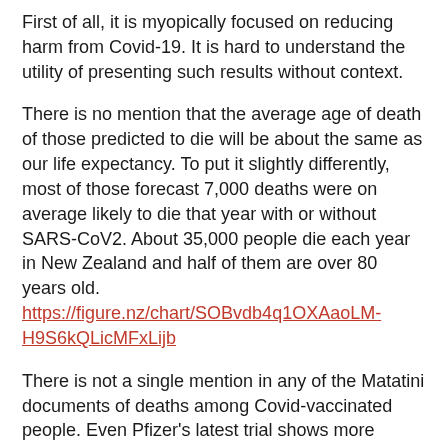First of all, it is myopically focused on reducing harm from Covid-19. It is hard to understand the utility of presenting such results without context.
There is no mention that the average age of death of those predicted to die will be about the same as our life expectancy. To put it slightly differently, most of those forecast 7,000 deaths were on average likely to die that year with or without SARS-CoV2. About 35,000 people die each year in New Zealand and half of them are over 80 years old. https://figure.nz/chart/SOBvdb4q1OXAaoLM-H9S6kQLicMFxLijb
There is not a single mention in any of the Matatini documents of deaths among Covid-vaccinated people. Even Pfizer's latest trial shows more deaths in the vaccinated group compared to the unvaccinated. https://www.nejm.org/doi/full/10.1056/NEJMoa211